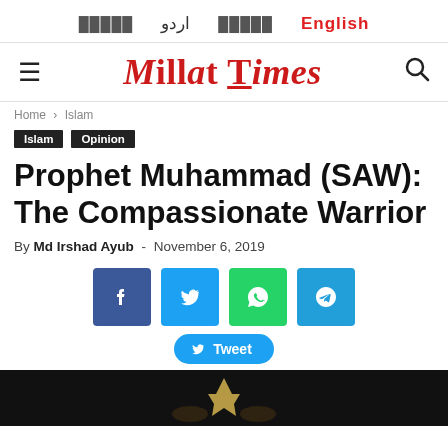اردو  English
Millat Times
Home › Islam
Islam
Opinion
Prophet Muhammad (SAW): The Compassionate Warrior
By Md Irshad Ayub - November 6, 2019
[Figure (infographic): Social sharing buttons: Facebook, Twitter, WhatsApp, Telegram, and a Tweet button]
[Figure (photo): Dark/black background image at bottom of page]